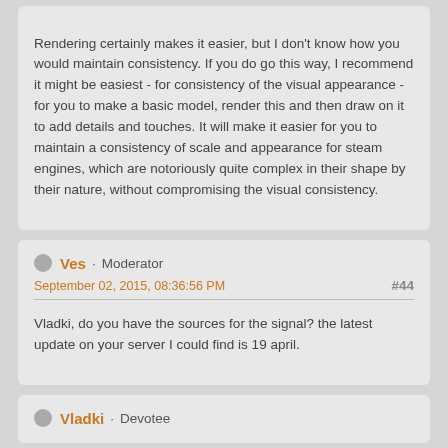Rendering certainly makes it easier, but I don't know how you would maintain consistency. If you do go this way, I recommend it might be easiest - for consistency of the visual appearance - for you to make a basic model, render this and then draw on it to add details and touches. It will make it easier for you to maintain a consistency of scale and appearance for steam engines, which are notoriously quite complex in their shape by their nature, without compromising the visual consistency.
Ves · Moderator
September 02, 2015, 08:36:56 PM
#44
Vladki, do you have the sources for the signal? the latest update on your server I could find is 19 april.
Vladki · Devotee